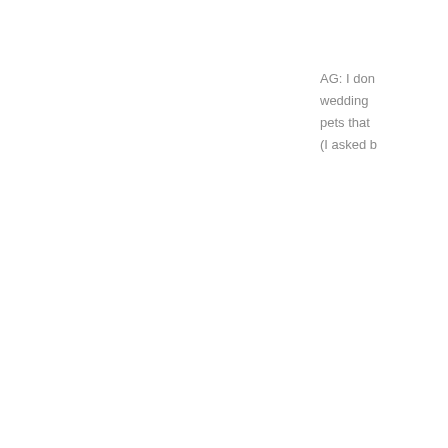AG: I don wedding pets that (I asked b